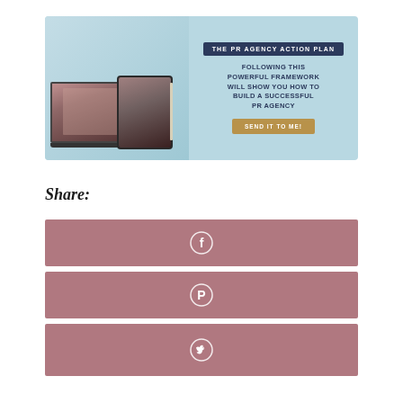[Figure (infographic): Promotional banner for 'The PR Agency Action Plan' showing a laptop and tablet with a person on screen, with the headline 'Following this powerful framework will show you how to build a successful PR agency' and a 'Send it to me!' button]
Share:
[Figure (infographic): Facebook share button — dusty rose/mauve colored bar with a white Facebook icon in the center]
[Figure (infographic): Pinterest share button — dusty rose/mauve colored bar with a white Pinterest icon in the center]
[Figure (infographic): Twitter share button — dusty rose/mauve colored bar with a white Twitter bird icon in the center]